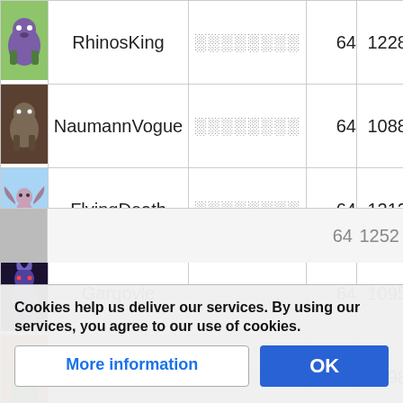| Image | Name | Lang | Level | Score |
| --- | --- | --- | --- | --- |
| [img] | RhinosKing | ░░░░░░░░ | 64 | 1228 |
| [img] | NaumannVogue | ░░░░░░░░ | 64 | 1088 |
| [img] | FlyingDeath | ░░░░░░░░ | 64 | 1212 |
| [img] | Gargoyle | ░░░░░░ | 64 | 1095 |
| [img] | TekkouMajin | ░░░░░░░░ | 64 | 1198 |
| [img] |  |  | 64 | 1252 |
Cookies help us deliver our services. By using our services, you agree to our use of cookies.
More information
OK